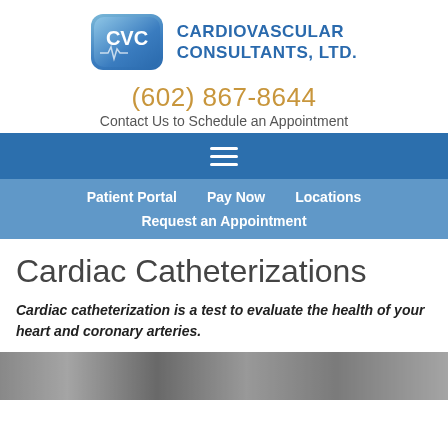[Figure (logo): CVC Cardiovascular Consultants, Ltd. logo with blue rounded rectangle containing CVC text and heartbeat line]
(602) 867-8644
Contact Us to Schedule an Appointment
[Figure (other): Dark blue navigation bar with hamburger menu icon (three horizontal white lines)]
Patient Portal   Pay Now   Locations   Request an Appointment
Cardiac Catheterizations
Cardiac catheterization is a test to evaluate the health of your heart and coronary arteries.
[Figure (photo): Partial photo of cardiac catheterization medical equipment/procedure room]